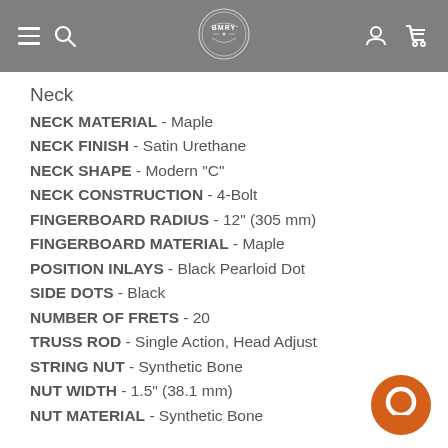BMRY logo with navigation icons
Neck
NECK MATERIAL - Maple
NECK FINISH - Satin Urethane
NECK SHAPE - Modern "C"
NECK CONSTRUCTION - 4-Bolt
FINGERBOARD RADIUS - 12" (305 mm)
FINGERBOARD MATERIAL - Maple
POSITION INLAYS - Black Pearloid Dot
SIDE DOTS - Black
NUMBER OF FRETS - 20
TRUSS ROD - Single Action, Head Adjust
STRING NUT - Synthetic Bone
NUT WIDTH - 1.5" (38.1 mm)
NUT MATERIAL - Synthetic Bone